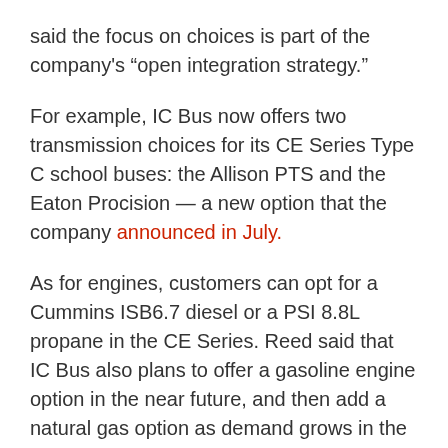said the focus on choices is part of the company's “open integration strategy.”
For example, IC Bus now offers two transmission choices for its CE Series Type C school buses: the Allison PTS and the Eaton Procision — a new option that the company announced in July.
As for engines, customers can opt for a Cummins ISB6.7 diesel or a PSI 8.8L propane in the CE Series. Reed said that IC Bus also plans to offer a gasoline engine option in the near future, and then add a natural gas option as demand grows in the school bus industry.
Also on display at the OEM’s trade show booth was OnCommand Connection, Navistar’s open architecture remote diagnostic system, which is a new standard feature